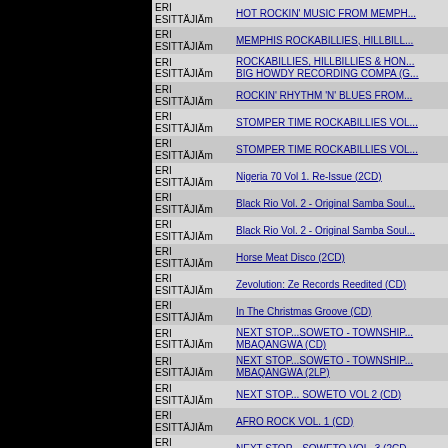| Esittäjä | Title |
| --- | --- |
| ERI ESITTÄJIÄm | HOT ROCKIN' MUSIC FROM MEMPH... |
| ERI ESITTÄJIÄm | MEMPHIS ROCKABILLIES, HILLBILL... |
| ERI ESITTÄJIÄm | ROCKABILLIES, HILLBILLIES & HON... BIG HOWDY RECORDING COMPA (G... |
| ERI ESITTÄJIÄm | ROCKIN' RHYTHM 'N' BLUES FROM... |
| ERI ESITTÄJIÄm | STOMPER TIME ROCKABILLIES VOL... |
| ERI ESITTÄJIÄm | STOMPER TIME ROCKABILLIES VOL... |
| ERI ESITTÄJIÄm | Nigeria 70 Vol 1. Re-Issue (2CD) |
| ERI ESITTÄJIÄm | Black Rio Vol. 2 - Original Samba Soul... |
| ERI ESITTÄJIÄm | Black Rio Vol. 2 - Original Samba Soul... |
| ERI ESITTÄJIÄm | Horse Meat Disco (2CD) |
| ERI ESITTÄJIÄm | Zevolution: Ze Records Reedited (CD) |
| ERI ESITTÄJIÄm | In The Christmas Groove (CD) |
| ERI ESITTÄJIÄm | NEXT STOP...SOWETO - TOWNSHIP... MBAQANGWA (CD) |
| ERI ESITTÄJIÄm | NEXT STOP...SOWETO - TOWNSHIP... MBAQANGWA (2LP) |
| ERI ESITTÄJIÄm | NEXT STOP... SOWETO VOL 2 (CD) |
| ERI ESITTÄJIÄm | AFRO ROCK VOL. 1 (CD) |
| ERI ESITTÄJIÄm | NEXT STOP... SOWETO VOL. 3 (2CD... |
| ERI ESITTÄJIÄm | HORSE MEAT DISCO 2 (CD) |